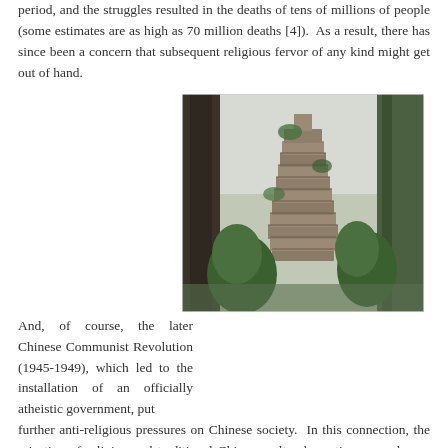period, and the struggles resulted in the deaths of tens of millions of people (some estimates are as high as 70 million deaths [4]).  As a result, there has since been a concern that subsequent religious fervor of any kind might get out of hand.
And, of course, the later Chinese Communist Revolution (1945-1949), which led to the installation of an officially atheistic government, put further anti-religious pressures on Chinese society.  In this connection, the rejection of religion and traditional Chinese cultural practices was also an underlying motivation behind the Cultural Revolution (1965-1976), the depredations of which led not only to intense suppression of traditional practices, but also to the destruction of a great many Daoist and Buddhist monasteries and architecturally symbolic
[Figure (photo): A tall ancient stone pagoda tower partially covered in vegetation, surrounded by trees in a misty forested setting.]